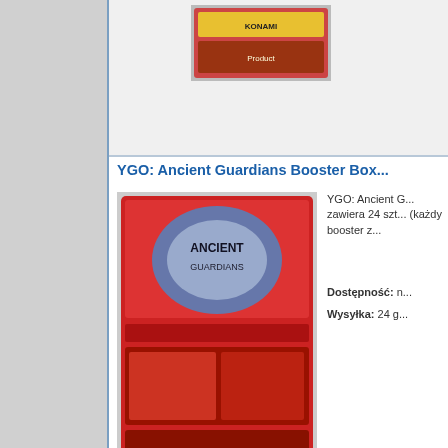[Figure (photo): Partially visible product image at top of page]
YGO: Ancient Guardians Booster Box
[Figure (photo): YGO Ancient Guardians Booster Box product image]
YGO: Ancient G... zawiera 24 szt... (każdy booster z...
Dostępność: n...
Wysyłka: 24 g...
YGO: Battle of Chaos Booster
[Figure (photo): YGO Battle of Chaos Booster product image]
9-kartowy zestav...
Dostępność: c...
Wysyłka: 24 ga...